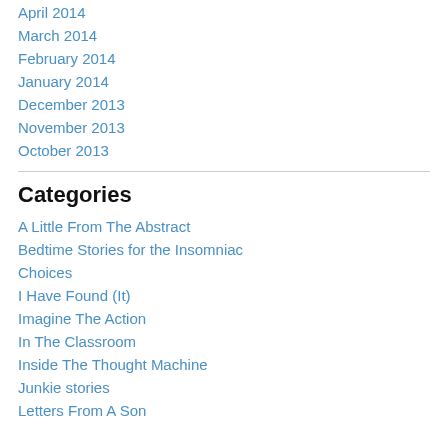April 2014
March 2014
February 2014
January 2014
December 2013
November 2013
October 2013
Categories
A Little From The Abstract
Bedtime Stories for the Insomniac
Choices
I Have Found (It)
Imagine The Action
In The Classroom
Inside The Thought Machine
Junkie stories
Letters From A Son